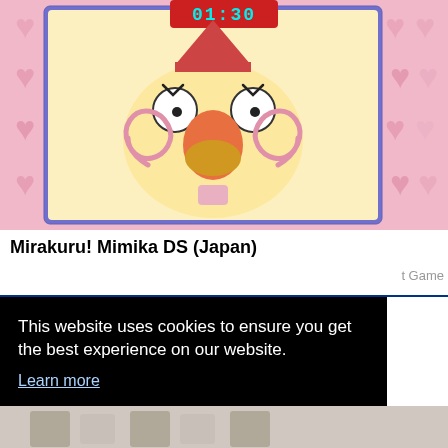[Figure (screenshot): Screenshot of Mirakuru! Mimika DS (Japan) - a Nintendo DS game showing a cartoon character face with big round eyes, an orange/pink beak-like nose, spiral cheeks, on a pink heart-patterned background. A timer display showing '01:30' appears at the top of the game screen.]
Mirakuru! Mimika DS (Japan)
t Game
This website uses cookies to ensure you get the best experience on our website.
Learn more
Got it!
[Figure (screenshot): Bottom strip of another game screenshot, partially visible]